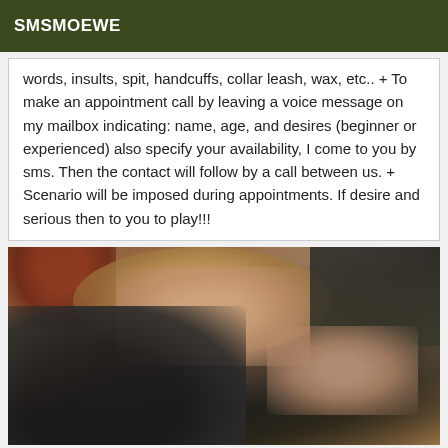SMSMOEWE
words, insults, spit, handcuffs, collar leash, wax, etc.. + To make an appointment call by leaving a voice message on my mailbox indicating: name, age, and desires (beginner or experienced) also specify your availability, I come to you by sms. Then the contact will follow by a call between us. + Scenario will be imposed during appointments. If desire and serious then to you to play!!!
[Figure (photo): Photo of a person in black clothing with glasses, hair visible, taken from above at an angle]